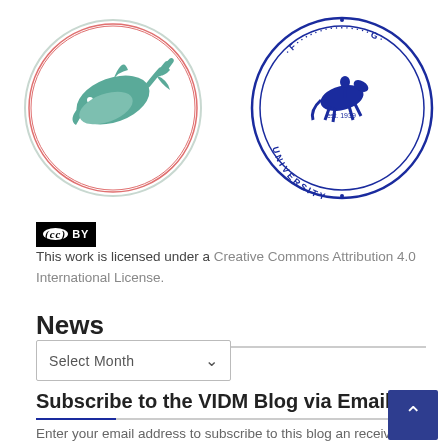[Figure (logo): Circular logo with teal/green dolphin (MySQL-style) inside a circle with red accent lines, partially cropped at top]
[Figure (logo): University seal in blue: circular seal with a horse rider, text around perimeter reading 'UNIVERSITY' and 'est. 1939', partially cropped at top]
[Figure (logo): Creative Commons CC BY license badge: black rectangle with white CC circle icon and 'BY' text]
This work is licensed under a Creative Commons Attribution 4.0 International License.
News
[Figure (other): Dropdown select box labeled 'Select Month' with chevron arrow]
Subscribe to the VIDM Blog via Email
Enter your email address to subscribe to this blog and receive notifications of new posts by email.